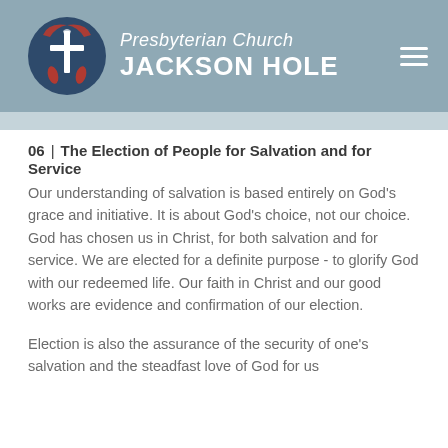Presbyterian Church JACKSON HOLE
06 | The Election of People for Salvation and for Service
Our understanding of salvation is based entirely on God's grace and initiative. It is about God's choice, not our choice. God has chosen us in Christ, for both salvation and for service. We are elected for a definite purpose - to glorify God with our redeemed life. Our faith in Christ and our good works are evidence and confirmation of our election.
Election is also the assurance of the security of one's salvation and the steadfast love of God for us